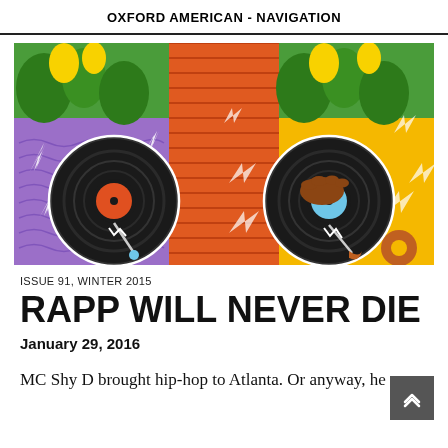OXFORD AMERICAN - NAVIGATION
[Figure (illustration): Colorful illustration showing two vinyl records being scratched by a DJ. Left panel has purple background with lightning bolts and a black vinyl record with orange center label. Right panel has yellow/orange burst background with a black vinyl record with blue center, a hand reaching down to scratch it. Both panels have green foliage at the top and an orange-striped shirt figure. A small donut shape appears at bottom right.]
ISSUE 91, WINTER 2015
RAPP WILL NEVER DIE
January 29, 2016
MC Shy D brought hip-hop to Atlanta. Or anyway, he